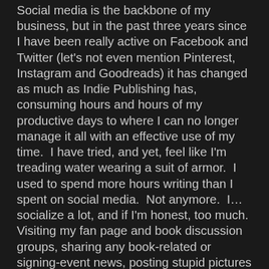Social media is the backbone of my business, but in the past three years since I have been really active on Facebook and Twitter (let's not even mention Pinterest, Instagram and Goodreads) it has changed as much as Indie Publishing has, consuming hours and hours of my productive days to where I can no longer manage it all with an effective use of my time.  I have tried, and yet, feel like I'm treading water wearing a suit of armor.  I used to spend more hours writing than I spent on social media.  Not anymore.  I…socialize a lot, and if I'm honest, too much.  Visiting my fan page and book discussion groups, sharing any book-related or signing-event news, posting stupid pictures that make me laugh, sharing book releases for author friends and acquaintances,  while knowing full well it would take an apocalyptic event to ensure me some reading time of someone else's book for enjoyment.  Too much socializing I fear.  I do all of that socializing and get stressed about word counts and writing